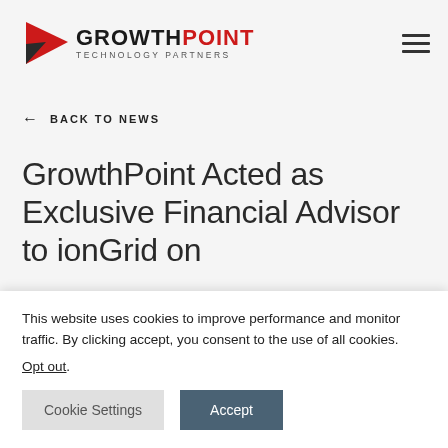[Figure (logo): GrowthPoint Technology Partners logo with red and black arrow/chevron icon and text 'GROWTHPOINT TECHNOLOGY PARTNERS']
← BACK TO NEWS
GrowthPoint Acted as Exclusive Financial Advisor to ionGrid on
This website uses cookies to improve performance and monitor traffic. By clicking accept, you consent to the use of all cookies.
Opt out.
Cookie Settings   Accept